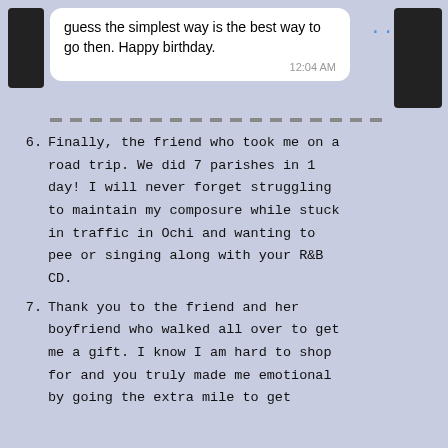[Figure (screenshot): Chat message screenshot showing text: 'guess the simplest way is the best way to go then. Happy birthday.' with timestamp 12:04 AM]
6. Finally, the friend who took me on a road trip. We did 7 parishes in 1 day! I will never forget struggling to maintain my composure while stuck in traffic in Ochi and wanting to pee or singing along with your R&B CD.
7. Thank you to the friend and her boyfriend who walked all over to get me a gift. I know I am hard to shop for and you truly made me emotional by going the extra mile to get